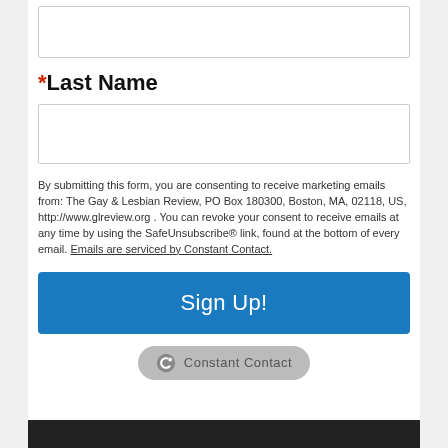(input box — top, partially visible)
*Last Name
(Last Name input box)
By submitting this form, you are consenting to receive marketing emails from: The Gay & Lesbian Review, PO Box 180300, Boston, MA, 02118, US, http://www.glreview.org . You can revoke your consent to receive emails at any time by using the SafeUnsubscribe® link, found at the bottom of every email. Emails are serviced by Constant Contact.
Sign Up!
[Figure (logo): Constant Contact badge/logo with circular icon and text 'Constant Contact' on a grey rounded pill background]